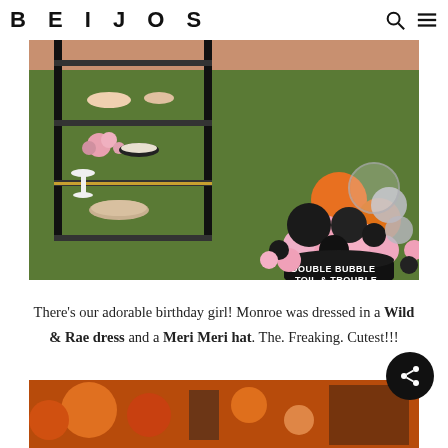BEIJOS
[Figure (photo): Party dessert table with black metal shelving unit holding desserts, flowers, and plates on green grass, with a large balloon garland arrangement in pink, black, silver, orange colors. A black cauldron reads 'DOUBLE BUBBLE TOIL & TROUBLE'.]
There’s our adorable birthday girl! Monroe was dressed in a Wild & Rae dress and a Meri Meri hat. The. Freaking. Cutest!!!
[Figure (photo): Partial bottom photo showing orange and dark colored party decorations and balloons.]